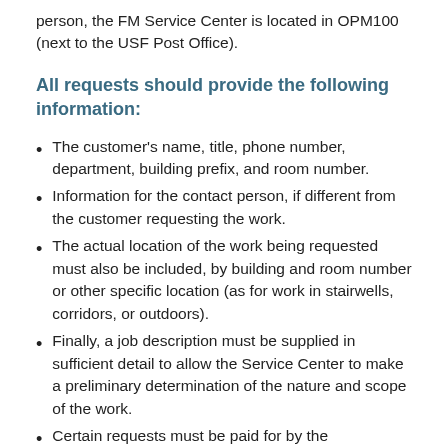person, the FM Service Center is located in OPM100 (next to the USF Post Office).
All requests should provide the following information:
The customer's name, title, phone number, department, building prefix, and room number.
Information for the contact person, if different from the customer requesting the work.
The actual location of the work being requested must also be included, by building and room number or other specific location (as for work in stairwells, corridors, or outdoors).
Finally, a job description must be supplied in sufficient detail to allow the Service Center to make a preliminary determination of the nature and scope of the work.
Certain requests must be paid for by the